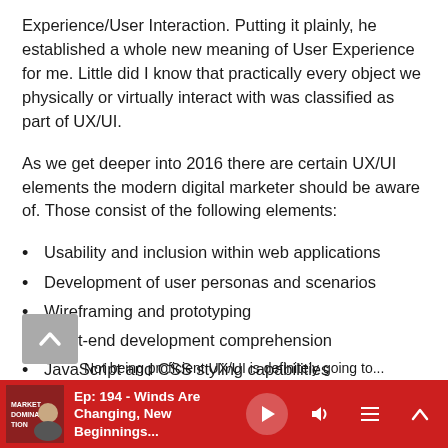Experience/User Interaction. Putting it plainly, he established a whole new meaning of User Experience for me. Little did I know that practically every object we physically or virtually interact with was classified as part of UX/UI.
As we get deeper into 2016 there are certain UX/UI elements the modern digital marketer should be aware of. Those consist of the following elements:
Usability and inclusion within web applications
Development of user personas and scenarios
Wireframing and prototyping
Front-end development comprehension
JavaScript and CSS styling capabilities
Information architecture
Ep: 194 - Winds Are Changing, New Beginnings...